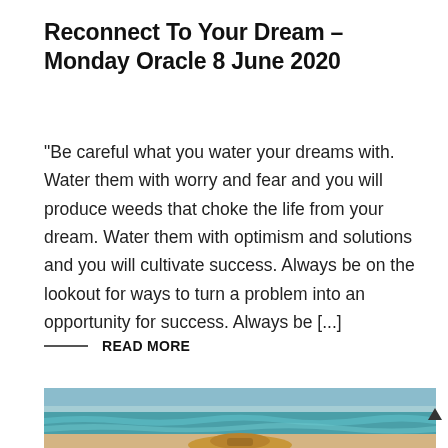Reconnect To Your Dream – Monday Oracle 8 June 2020
“Be careful what you water your dreams with. Water them with worry and fear and you will produce weeds that choke the life from your dream. Water them with optimism and solutions and you will cultivate success. Always be on the lookout for ways to turn a problem into an opportunity for success. Always be [...]
READ MORE
[Figure (photo): Beach scene showing ocean waves and a person wearing a straw hat, viewed from behind]